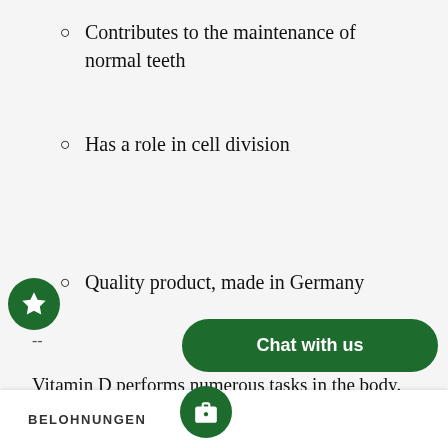Contributes to the maintenance of normal teeth
Has a role in cell division
Quality product, made in Germany
--
Vitamin D performs numerous tasks in the body. For example, it contributes to normal calcium levels and strengthens tooth and bone subst… s… unction … pu… athletes. Vitamin D also